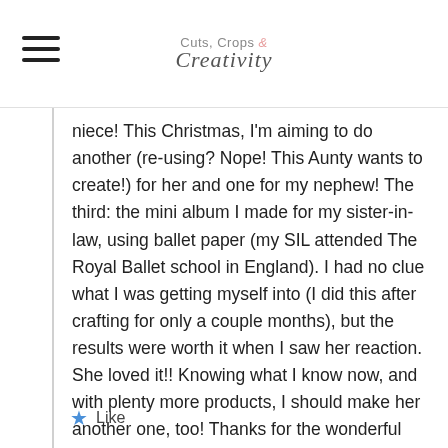Cuts, Crops & Creativity
niece! This Christmas, I'm aiming to do another (re-using? Nope! This Aunty wants to create!) for her and one for my nephew! The third: the mini album I made for my sister-in-law, using ballet paper (my SIL attended The Royal Ballet school in England). I had no clue what I was getting myself into (I did this after crafting for only a couple months), but the results were worth it when I saw her reaction. She loved it!! Knowing what I know now, and with plenty more products, I should make her another one, too! Thanks for the wonderful video and card, Chaitali!
c
Like